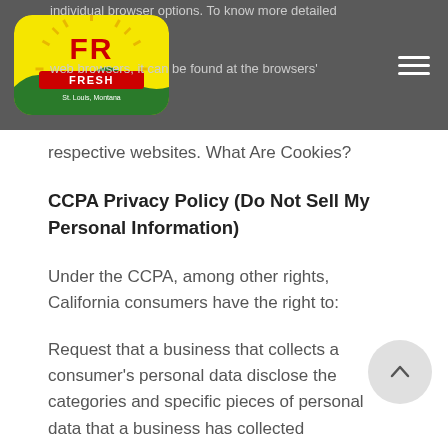individual browser options. To know more detailed … management with specific web browsers, it can be found at the browsers' respective websites. What Are Cookies?
[Figure (logo): FR Fresh St. Louis, Montana logo — yellow sunburst background with green hills, red banner reading FRESH]
respective websites. What Are Cookies?
CCPA Privacy Policy (Do Not Sell My Personal Information)
Under the CCPA, among other rights, California consumers have the right to:
Request that a business that collects a consumer's personal data disclose the categories and specific pieces of personal data that a business has collected